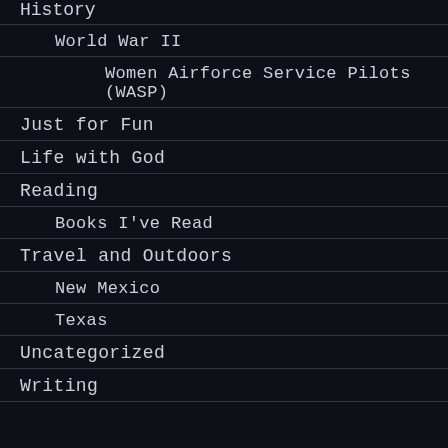History
World War II
Women Airforce Service Pilots (WASP)
Just for Fun
Life with God
Reading
Books I've Read
Travel and Outdoors
New Mexico
Texas
Uncategorized
Writing